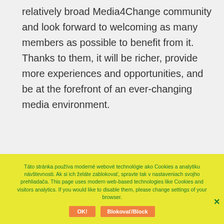relatively broad Media4Change community and look forward to welcoming as many members as possible to benefit from it. Thanks to them, it will be richer, provide more experiences and opportunities, and be at the forefront of an ever-changing media environment.
Background
Táto stránka používa moderné webové technológie ako Cookies a analytiku návštevnosti. Ak si ich želáte zablokovať, spravte tak v nastaveniach svojho prehliadača. This page uses modern web-based technologies like Cookies and visitors analytics. If you would like to disable them, please change settings of your browser.